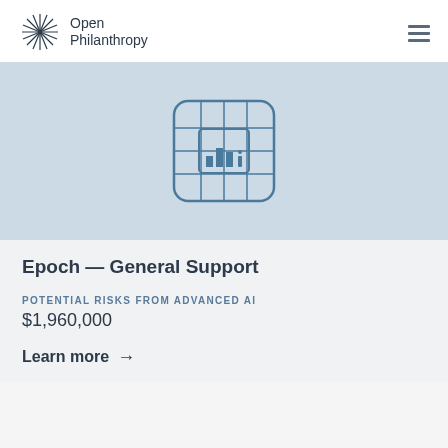Open Philanthropy
[Figure (logo): Open Philanthropy logo with starburst/snowflake icon and text 'Open Philanthropy']
[Figure (illustration): Light blue banner with a stylized chip/circuit board icon rendered in blue line art on a light blue background]
Epoch — General Support
POTENTIAL RISKS FROM ADVANCED AI
$1,960,000
Learn more →